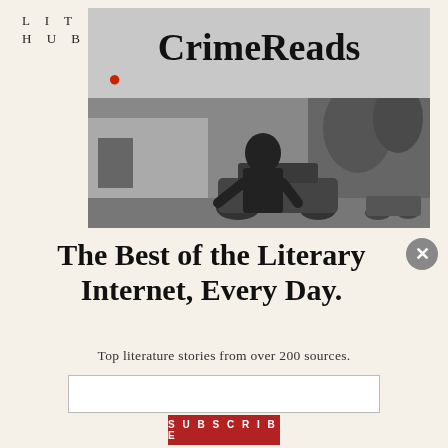LIT HUB
[Figure (logo): CrimeReads banner logo with red blood drop, above a black-and-white photograph of a man on a motorcycle in front of a house]
The Best of the Literary Internet, Every Day.
Top literature stories from over 200 sources.
SUBSCRIBE